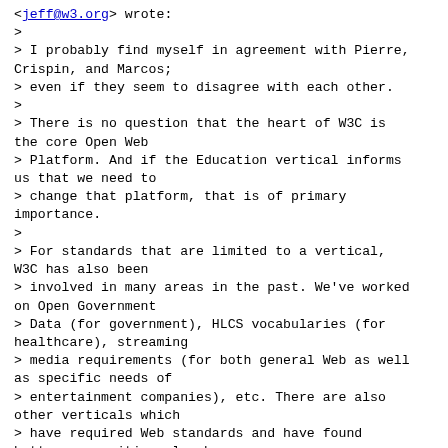<jeff@w3.org> wrote:
>
> I probably find myself in agreement with Pierre, Crispin, and Marcos;
> even if they seem to disagree with each other.
>
> There is no question that the heart of W3C is the core Open Web
> Platform. And if the Education vertical informs us that we need to
> change that platform, that is of primary importance.
>
> For standards that are limited to a vertical, W3C has also been
> involved in many areas in the past. We've worked on Open Government
> Data (for government), HLCS vocabularies (for healthcare), streaming
> media requirements (for both general Web as well as specific needs of
> entertainment companies), etc. There are also other verticals which
> have required Web standards and have found better communities elsewhere
> such as XBRL (accounting), XML impacts on HL7 (health care).
>
> In this task force we are exploring